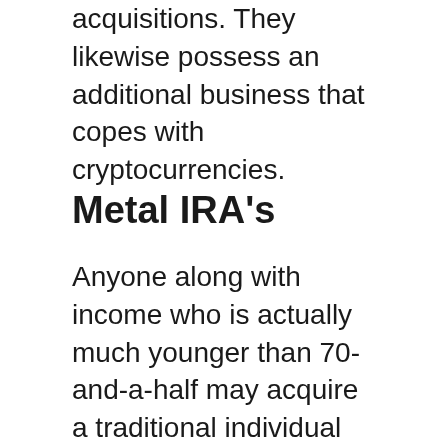acquisitions. They likewise possess an additional business that copes with cryptocurrencies.
Metal IRA's
Anyone along with income who is actually much younger than 70-and-a-half may acquire a traditional individual retirement account. With Goldco, you can easily get a gold or silver IRA, or even them all together.
For IRS observance, they put their metal Individual retirement accounts inside a third-party vault for storage space.
Their IRA protector is actually Equity Trust Company.